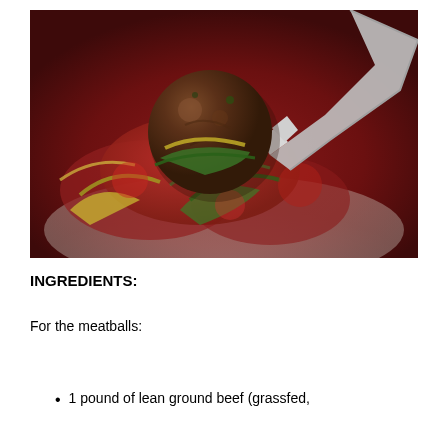[Figure (photo): Close-up photo of a meatball on a fork over a dish of zucchini noodles and red tomato sauce.]
INGREDIENTS:
For the meatballs:
1 pound of lean ground beef (grassfed,